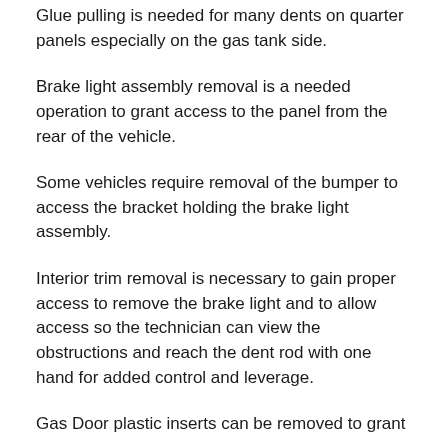Glue pulling is needed for many dents on quarter panels especially on the gas tank side.
Brake light assembly removal is a needed operation to grant access to the panel from the rear of the vehicle.
Some vehicles require removal of the bumper to access the bracket holding the brake light assembly.
Interior trim removal is necessary to gain proper access to remove the brake light and to allow access so the technician can view the obstructions and reach the dent rod with one hand for added control and leverage.
Gas Door plastic inserts can be removed to grant